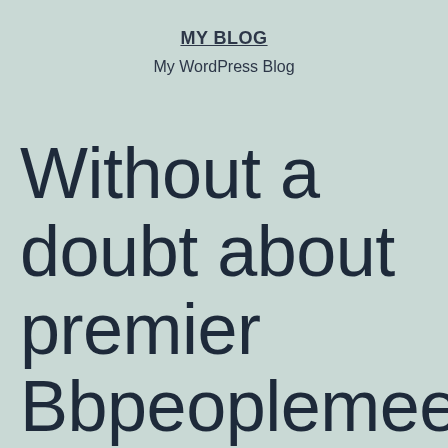MY BLOG
My WordPress Blog
Without a doubt about premier Bbpeoplemeet